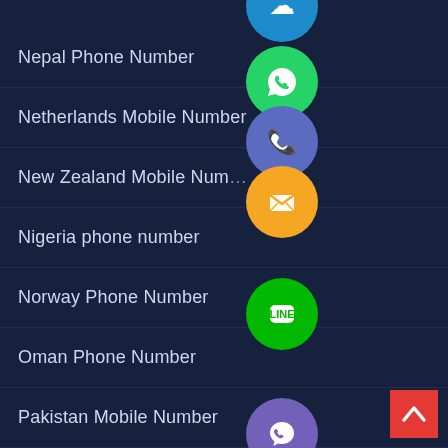Nepal Phone Number
Netherlands Mobile Number
New Zealand Mobile Number
Nigeria phone number
Norway Phone Number
Oman Phone Number
Pakistan Mobile Number
Panama Phone Number
Philippines Photo Editor